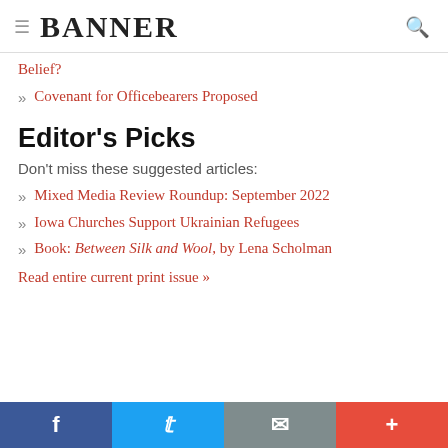BANNER
Belief?
Covenant for Officebearers Proposed
Editor's Picks
Don't miss these suggested articles:
Mixed Media Review Roundup: September 2022
Iowa Churches Support Ukrainian Refugees
Book: Between Silk and Wool, by Lena Scholman
Read entire current print issue »
f  t  mail  +